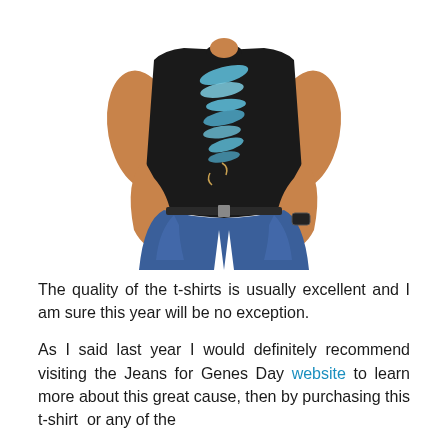[Figure (photo): A man wearing a black t-shirt with a blue artistic graphic print and blue jeans, hands in pockets, photographed from the chest down to the knees on a white background.]
The quality of the t-shirts is usually excellent and I am sure this year will be no exception.
As I said last year I would definitely recommend visiting the Jeans for Genes Day website to learn more about this great cause, then by purchasing this t-shirt  or any of the